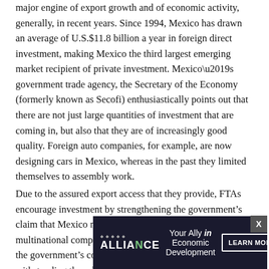major engine of export growth and of economic activity, generally, in recent years. Since 1994, Mexico has drawn an average of U.S.$11.8 billion a year in foreign direct investment, making Mexico the third largest emerging market recipient of private investment. Mexico’s government trade agency, the Secretary of the Economy (formerly known as Secofi) enthusiastically points out that there are not just large quantities of investment that are coming in, but also that they are of increasingly good quality. Foreign auto companies, for example, are now designing cars in Mexico, whereas in the past they limited themselves to assembly work.
Due to the assured export access that they provide, FTAs encourage investment by strengthening the government’s claim that Mexico makes a logical production hub for multinational companies. FTAs also confirm to investors the government’s commitment to free market policies. Not-withstanding these benefits, there is increasing frustration... confusion... a